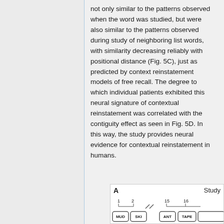not only similar to the patterns observed when the word was studied, but were also similar to the patterns observed during study of neighboring list words, with similarity decreasing reliably with positional distance (Fig. 5C), just as predicted by context reinstatement models of free recall. The degree to which individual patients exhibited this neural signature of contextual reinstatement was correlated with the contiguity effect as seen in Fig. 5D. In this way, the study provides neural evidence for contextual reinstatement in humans.
[Figure (schematic): Panel A of a figure showing a study phase timeline with numbered word positions (1, 2, 15, 16) above rounded-rectangle boxes labeled MUD, SKI, ANT, TAPE, with a break indicated by diagonal slash marks between positions 2 and 15.]